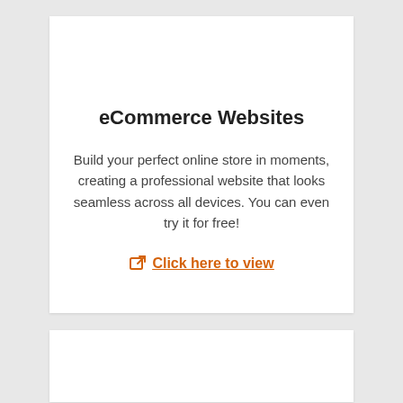eCommerce Websites
Build your perfect online store in moments, creating a professional website that looks seamless across all devices. You can even try it for free!
Click here to view